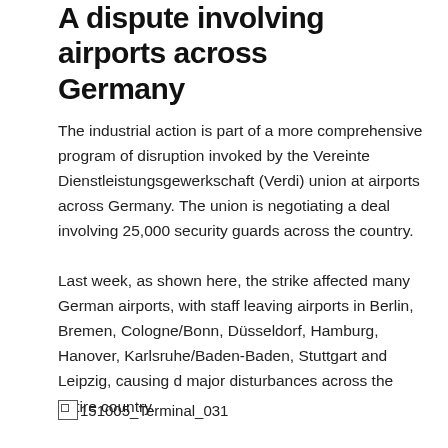A dispute involving airports across Germany
The industrial action is part of a more comprehensive program of disruption invoked by the Vereinte Dienstleistungsgewerkschaft (Verdi) union at airports across Germany. The union is negotiating a deal involving 25,000 security guards across the country.
Last week, as shown here, the strike affected many German airports, with staff leaving airports in Berlin, Bremen, Cologne/Bonn, Düsseldorf, Hamburg, Hanover, Karlsruhe/Baden-Baden, Stuttgart and Leipzig, causing d major disturbances across the entire country.
[Figure (photo): Broken image placeholder labeled 151005_Terminal_031]